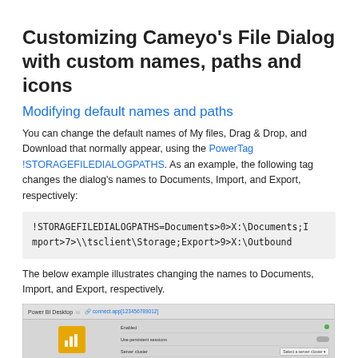Customizing Cameyo's File Dialog with custom names, paths and icons
Modifying default names and paths
You can change the default names of My files, Drag & Drop, and Download that normally appear, using the PowerTag !STORAGEFILEDIALOGPATHS. As an example, the following tag changes the dialog's names to Documents, Import, and Export, respectively:
The below example illustrates changing the names to Documents, Import, and Export, respectively.
[Figure (screenshot): Screenshot of Power BI Desktop application dialog showing storage file settings with Documents, Import, and Export options, along with various toggle settings on the right side.]